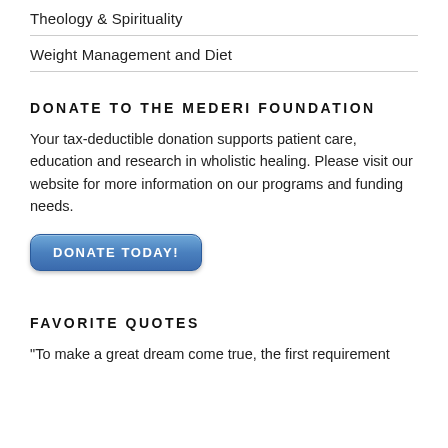Theology & Spirituality
Weight Management and Diet
DONATE TO THE MEDERI FOUNDATION
Your tax-deductible donation supports patient care, education and research in wholistic healing. Please visit our website for more information on our programs and funding needs.
[Figure (other): Blue rounded button labeled DONATE TODAY!]
FAVORITE QUOTES
"To make a great dream come true, the first requirement